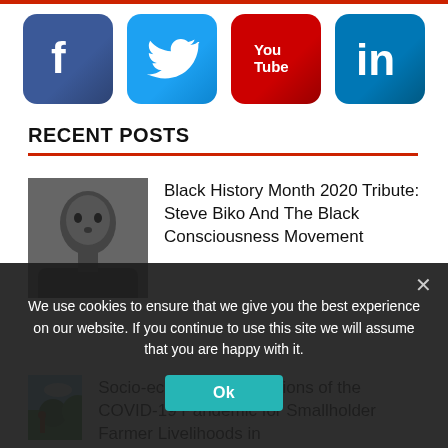[Figure (infographic): Social media icons row: Facebook, Twitter, YouTube, LinkedIn]
RECENT POSTS
[Figure (photo): Black and white portrait of Steve Biko]
Black History Month 2020 Tribute: Steve Biko And The Black Consciousness Movement
[Figure (photo): Outdoor farm scene with blue sky and green trees]
Socio-economic Implications of the COVID-19 Pandemic for Smallholder Farmer Livelihoods in
We use cookies to ensure that we give you the best experience on our website. If you continue to use this site we will assume that you are happy with it.